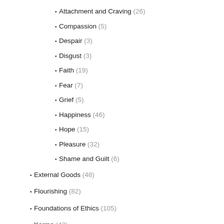Attachment and Craving (26)
Compassion (5)
Despair (3)
Disgust (3)
Faith (19)
Fear (7)
Grief (5)
Happiness (46)
Hope (15)
Pleasure (32)
Shame and Guilt (6)
External Goods (48)
Flourishing (82)
Foundations of Ethics (105)
Karma (42)
Morality (62)
Virtue (146)
Courage (5)